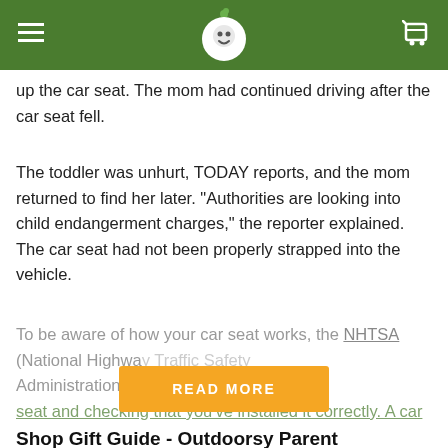Website header with logo and navigation
up the car seat. The mom had continued driving after the car seat fell.
The toddler was unhurt, TODAY reports, and the mom returned to find her later. "Authorities are looking into child endangerment charges," the reporter explained. The car seat had not been properly strapped into the vehicle.
To be aware of how your car seat works, the NHTSA (National Highway Traffic Safety Administration) recommends registering your car seat and checking that you've installed it correctly. A car
[Figure (other): Orange READ MORE button overlay]
Shop Gift Guide - Outdoorsy Parent
[Figure (other): Product cards row with FREE shipping badge icons]